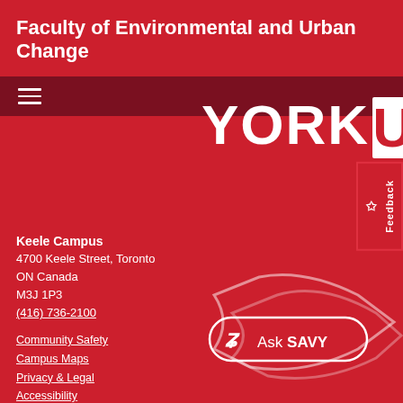Faculty of Environmental and Urban Change
[Figure (logo): York University logo — YORKU in white bold text with U in a white box, on red background]
Keele Campus
4700 Keele Street, Toronto
ON Canada
M3J 1P3
(416) 736-2100
Community Safety
Campus Maps
Privacy & Legal
Accessibility
Careers
[Figure (logo): Ask SAVY chatbot button with icon and text 'Ask SAVY' in white on red background with decorative arrow shape]